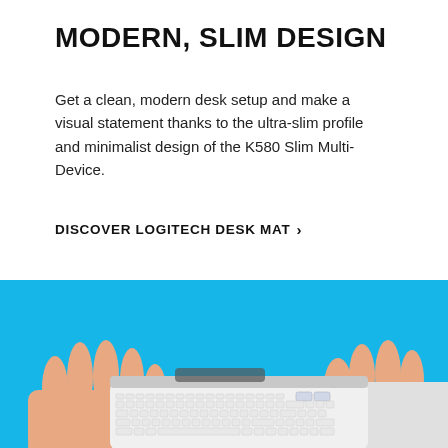MODERN, SLIM DESIGN
Get a clean, modern desk setup and make a visual statement thanks to the ultra-slim profile and minimalist design of the K580 Slim Multi-Device.
DISCOVER LOGITECH DESK MAT >
[Figure (photo): Two hands typing on a white Logitech K580 slim wireless keyboard against a bright blue background.]